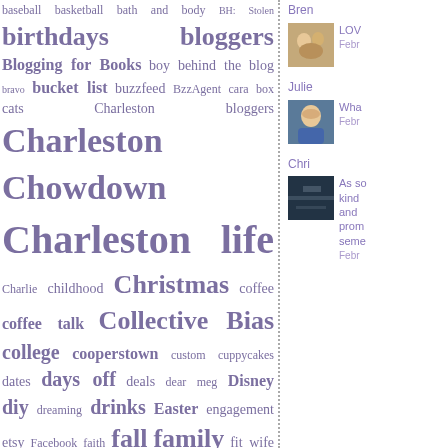[Figure (infographic): Tag cloud of blog post topics in purple/violet color, varying font sizes indicating frequency. Tags include: baseball, basketball, bath and body, BH: Stolen, birthdays, bloggers, Blogging for Books, boy behind the blog, bravo, bucket list, buzzfeed, BzzAgent, cara box, cats, Charleston bloggers, Charleston Chowdown, Charleston life, Charlie, childhood, Christmas, coffee, coffee talk, Collective Bias, college, cooperstown, custom, cuppycakes, dates, days off, deals, dear meg, Disney, diy, dreaming, drinks, Easter, engagement, etsy, Facebook, faith, fall, family, fit wife, flashback friday, flowers, food, Food Network, Foodie Pen Pal, football, Friday Letters, funny, games, giveaway, goals, golf, green, guest post, H54F, hair, Halloween, Hartford, Hawaii, high school, holiday gift giving, Home Town Hop, house]
[Figure (photo): Photo of a family group]
Bren
LOV
Febr
[Figure (photo): Photo of a woman]
Julie
Wha
Febr
[Figure (photo): Dark landscape photo]
Chri
As so
kind
and
prom
seme
Febr